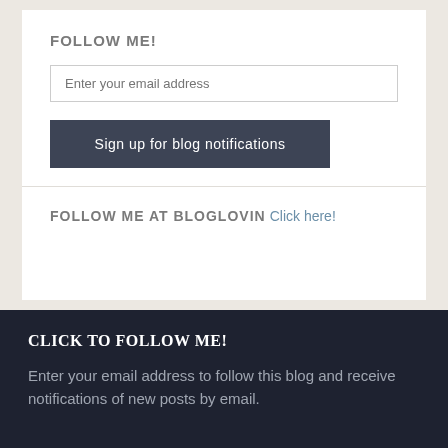FOLLOW ME!
Enter your email address
Sign up for blog notifications
FOLLOW ME AT BLOGLOVIN
Click here!
CLICK TO FOLLOW ME!
Enter your email address to follow this blog and receive notifications of new posts by email.